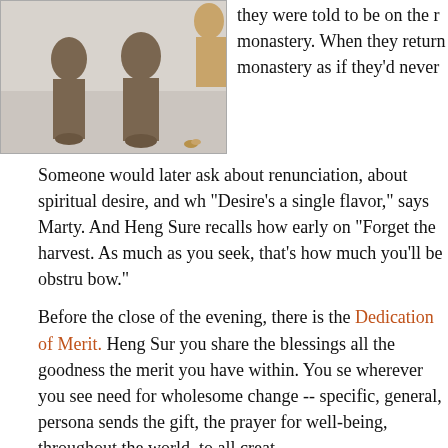[Figure (photo): Monks or robed figures walking in a corridor or hallway, photographed from behind, wearing brown robes.]
they were told to be on the road to the monastery. When they return to the monastery as if they'd never
Someone would later ask about renunciation, about spiritual desire, and wh "Desire's a single flavor," says Marty. And Heng Sure recalls how early on "Forget the harvest. As much as you seek, that's how much you'll be obstru bow."
Before the close of the evening, there is the Dedication of Merit. Heng Sur you share the blessings all the goodness the merit you have within. You se wherever you see need for wholesome change -- specific, general, persona sends the gift, the prayer for well-being, throughout the world, to all creat
On his guitar Heng Sure plays the tune to which the Dedication has been s it's overwhelming. This is what they did; at the end of every day, these two microworlds, they'd turn it back, dedicate it outwards, give it to the greater
We, who were not part of that journey, listened to them; and listening, it be unmoved -- not implicated.
You realize that they walked for the people you meet on the streets, and th